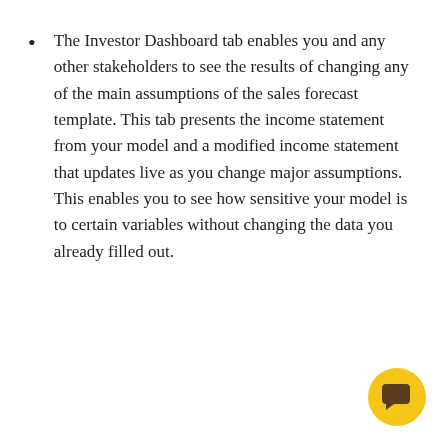The Investor Dashboard tab enables you and any other stakeholders to see the results of changing any of the main assumptions of the sales forecast template. This tab presents the income statement from your model and a modified income statement that updates live as you change major assumptions. This enables you to see how sensitive your model is to certain variables without changing the data you already filled out.